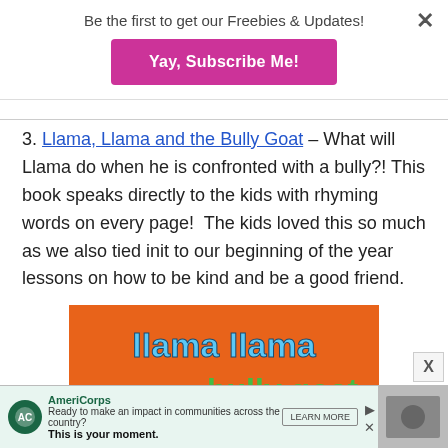Be the first to get our Freebies & Updates!
Yay, Subscribe Me!
3. Llama, Llama and the Bully Goat – What will Llama do when he is confronted with a bully?! This book speaks directly to the kids with rhyming words on every page! The kids loved this so much as we also tied init to our beginning of the year lessons on how to be kind and be a good friend.
[Figure (photo): Book cover of 'Llama Llama and the Bully Goat' by Anna Dewdney, with orange background and teal/green title text]
AmeriCorps – Ready to make an impact in communities across the country? This is your moment. LEARN MORE